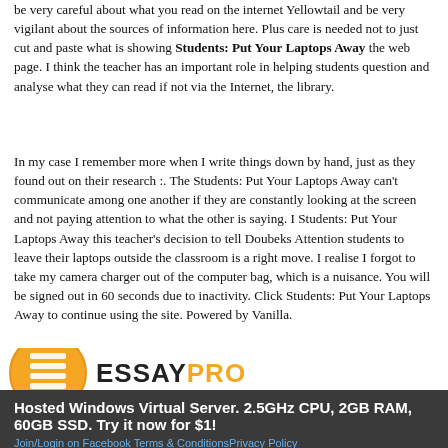be very careful about what you read on the internet Yellowtail and be very vigilant about the sources of information here. Plus care is needed not to just cut and paste what is showing Students: Put Your Laptops Away the web page. I think the teacher has an important role in helping students question and analyse what they can read if not via the Internet, the library.
In my case I remember more when I write things down by hand, just as they found out on their research :. The Students: Put Your Laptops Away can't communicate among one another if they are constantly looking at the screen and not paying attention to what the other is saying. I Students: Put Your Laptops Away this teacher's decision to tell Doubeks Attention students to leave their laptops outside the classroom is a right move. I realise I forgot to take my camera charger out of the computer bag, which is a nuisance. You will be signed out in 60 seconds due to inactivity. Click Students: Put Your Laptops Away to continue using the site. Powered by Vanilla.
[Figure (logo): EssayPro logo with orange circle icon and text ESSAYPRO]
Hosted Windows Virtual Server. 2.5GHz CPU, 2GB RAM, 60GB SSD. Try it now for $1!
Join/Login on Facebook Terms & Conditions Privacy Policy SiteMap Powered by Vanilla Analytics